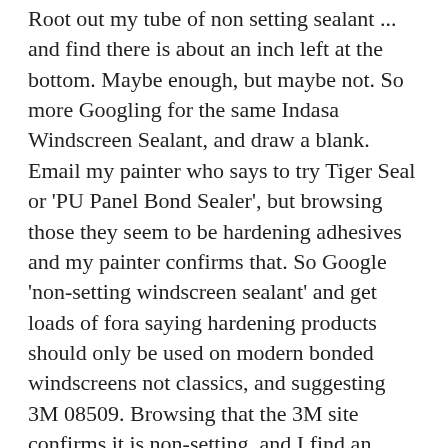Root out my tube of non setting sealant ... and find there is about an inch left at the bottom. Maybe enough, but maybe not. So more Googling for the same Indasa Windscreen Sealant, and draw a blank. Email my painter who says to try Tiger Seal or 'PU Panel Bond Sealer', but browsing those they seem to be hardening adhesives and my painter confirms that. So Google 'non-setting windscreen sealant' and get loads of fora saying hardening products should only be used on modern bonded windscreens not classics, and suggesting 3M 08509. Browsing that the 3M site confirms it is non-setting, and I find an eBay page offering 'last one remaining' for £2 whereas most vendors are asking £20 or so. Order that, confirmed, then get an email from the vendor saying it is an eBay error, they couldn't even post it out for that, so I get a refund. More Googling before I order the £20 stuff and I find some Wayside Screen Seal non-drying for £6.50 plus £2.49 P&P. Order that, and will test some to make sure it is non-drying before I go any further. Now the new seal is placed in-situ - with the covering still on the self-adhesive part - and trimmed to size I